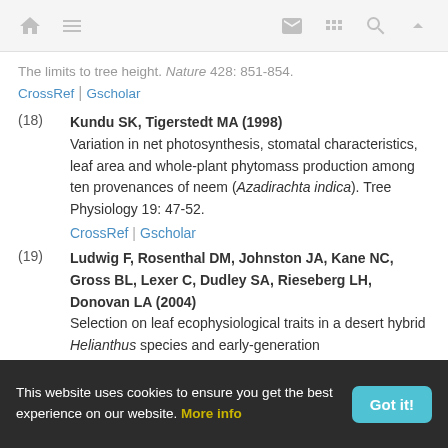Navigation bar with home, menu, mail, grid, search, and up icons
The limits to tree height. Nature 428: 851-854.
CrossRef | Gscholar
(18) Kundu SK, Tigerstedt MA (1998) Variation in net photosynthesis, stomatal characteristics, leaf area and whole-plant phytomass production among ten provenances of neem (Azadirachta indica). Tree Physiology 19: 47-52. CrossRef | Gscholar
(19) Ludwig F, Rosenthal DM, Johnston JA, Kane NC, Gross BL, Lexer C, Dudley SA, Rieseberg LH, Donovan LA (2004) Selection on leaf ecophysiological traits in a desert hybrid Helianthus species and early-generation
This website uses cookies to ensure you get the best experience on our website. More info  Got it!